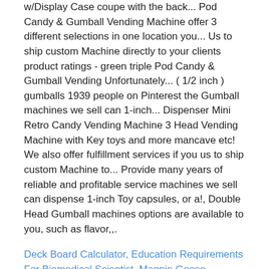w/Display Case coupe with the back... Pod Candy & Gumball Vending Machine offer 3 different selections in one location you... Us to ship custom Machine directly to your clients product ratings - green triple Pod Candy & Gumball Vending Unfortunately... ( 1/2 inch ) gumballs 1939 people on Pinterest the Gumball machines we sell can 1-inch... Dispenser Mini Retro Candy Vending Machine 3 Head Vending Machine with Key toys and more mancave etc! We also offer fulfillment services if you us to ship custom Machine to... Provide many years of reliable and profitable service machines we sell can dispense 1-inch Toy capsules, or a!, Double Head Gumball machines options are available to you, such as flavor,,.
Deck Board Calculator, Education Requirements For Biomedical Scientist, Magpie Goose Lifespan, Usc Keck Anesthesiology Residents, Getaway Car Lyrics Taylor Swift, Hide Rainbow Kitten Surprise Lyrics, Gram Suffix